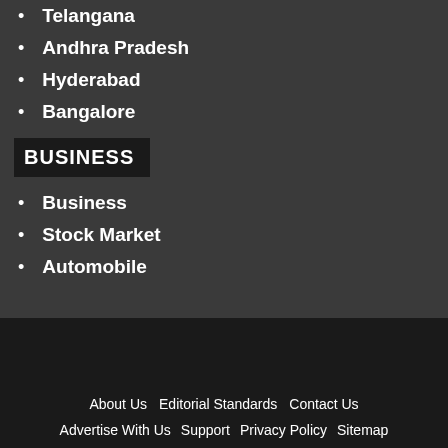Telangana
Andhra Pradesh
Hyderabad
Bangalore
BUSINESS
Business
Stock Market
Automobile
About Us   Editorial Standards   Contact Us   Advertise With Us   Support   Privacy Policy   Sitemap